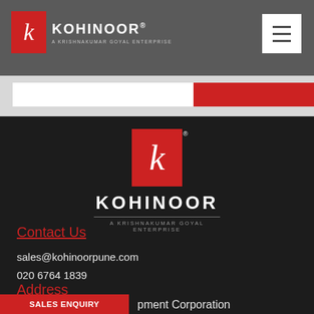KOHINOOR — A KRISHNAKUMAR GOYAL ENTERPRISE
[Figure (logo): Kohinoor logo centered in dark footer section — red square with white K and text KOHINOOR A KRISHNAKUMAR GOYAL ENTERPRISE]
Contact Us
sales@kohinoorpune.com
020 6764 1839
Address
pment Corporation
SALES ENQUIRY